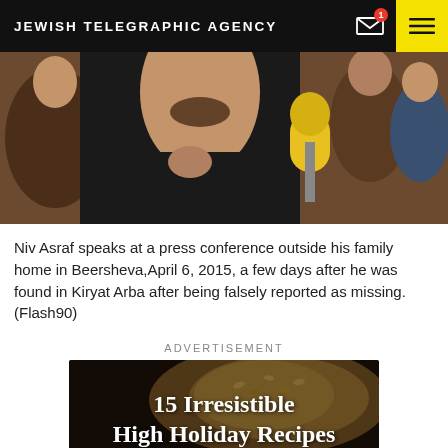JEWISH TELEGRAPHIC AGENCY
[Figure (photo): Man speaking at a press conference with a microphone in front of him, surrounded by people. A yellow microphone is visible in the foreground.]
Niv Asraf speaks at a press conference outside his family home in Beersheva,April 6, 2015, a few days after he was found in Kiryat Arba after being falsely reported as missing. (Flash90)
ADVERTISEMENT
[Figure (photo): Advertisement banner with dark background showing a braided bread (challah) and text: 15 Irresistible High Holiday Recipes]